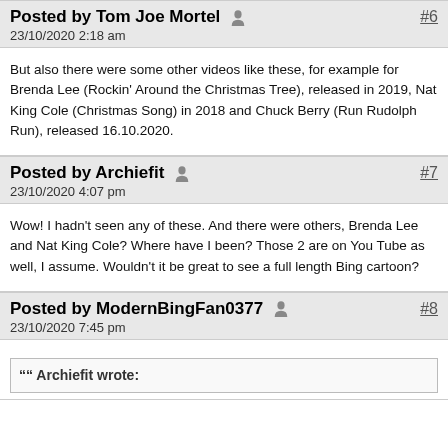Posted by Tom Joe Mortel  #6
23/10/2020 2:18 am
But also there were some other videos like these, for example for Brenda Lee (Rockin' Around the Christmas Tree), released in 2019, Nat King Cole (Christmas Song) in 2018 and Chuck Berry (Run Rudolph Run), released 16.10.2020.
Posted by Archiefit  #7
23/10/2020 4:07 pm
Wow! I hadn't seen any of these.  And there were others, Brenda Lee and Nat King Cole?  Where have I been?   Those 2 are on You Tube as well, I assume.  Wouldn't it be great to see a full length Bing cartoon?
Posted by ModernBingFan0377  #8
23/10/2020 7:45 pm
" Archiefit wrote: